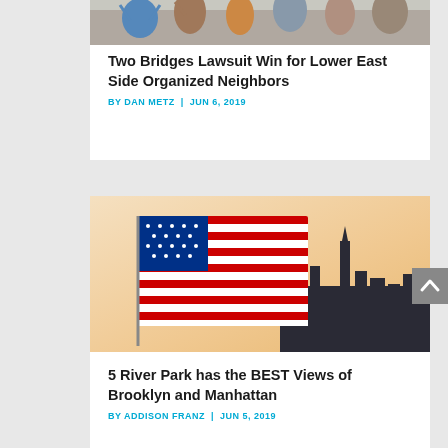[Figure (photo): Partial top of article card showing a crowd scene photo, cropped at top of page]
Two Bridges Lawsuit Win for Lower East Side Organized Neighbors
BY DAN METZ | JUN 6, 2019
[Figure (photo): American flag waving with NYC Manhattan skyline silhouette at sunset in background]
5 River Park has the BEST Views of Brooklyn and Manhattan
BY ADDISON FRANZ | JUN 5, 2019